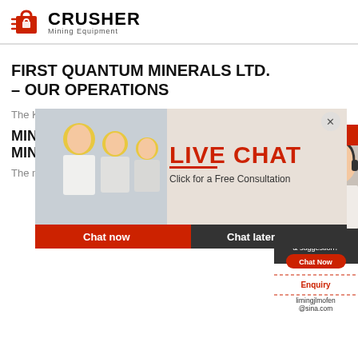[Figure (logo): Crusher Mining Equipment logo with red shopping bag icon and bold CRUSHER text]
FIRST QUANTUM MINERALS LTD. – OUR OPERATIONS
The Kansanshi copper smelter, commissioned in...
MINING ... MINES M...
The main re...
[Figure (screenshot): Live Chat popup overlay showing workers in hard hats, LIVE CHAT text, Click for a Free Consultation, Chat now and Chat later buttons]
[Figure (screenshot): Right sidebar widget showing 24Hrs Online, Need questions & suggestion?, Chat Now button, Enquiry, limingjlmofen@sina.com]
MINERALS ENGINEERING INTERNATIONAL ONLINE – COMMODITIES ...
2021-3-12 · First Quantum Plans to Revive Za...